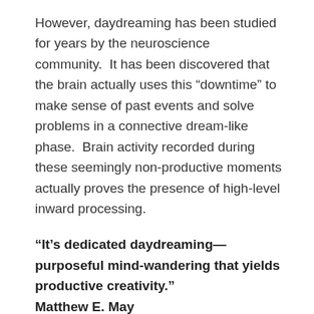However, daydreaming has been studied for years by the neuroscience community.  It has been discovered that the brain actually uses this “downtime” to make sense of past events and solve problems in a connective dream-like phase.  Brain activity recorded during these seemingly non-productive moments actually proves the presence of high-level inward processing.
“It’s dedicated daydreaming—purposeful mind-wandering that yields productive creativity.” Matthew E. May http://www.americanexpress.com/en-us/business/trends-and-insights/articles/the-neuroscience-ofcreativity-why-daydreaming-matters/
The brain takes advantage of time made available for daydreaming to explore the inner realms of its data